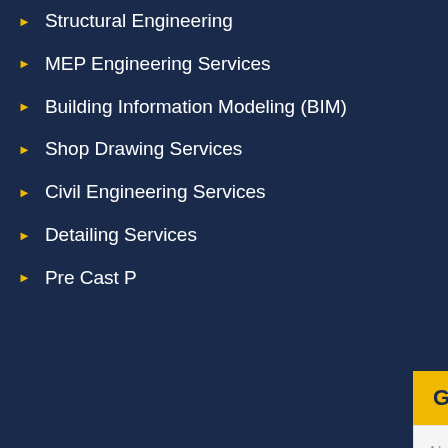Structural Engineering
MEP Engineering Services
Building Information Modeling (BIM)
Shop Drawing Services
Civil Engineering Services
Detailing Services
Pre Cast P...
HVAC Eng...
BIM LOD...
Point Clou...
Scan to BI...
Urban Pla...
Mass Tim...
Structura...
Rebar De...
GET IN TOUCH WITH US
Name*
Email*
Phone*
Select Country
Details